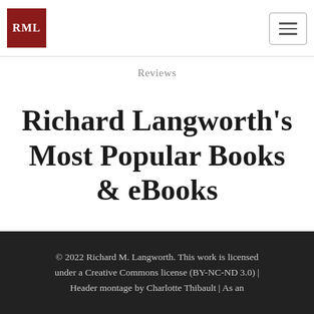[Figure (logo): RML logo — dark red square with white text 'RML']
Reviews
Richard Langworth's Most Popular Books & eBooks
Links on this page may earn commissions.
© 2022 Richard M. Langworth. This work is licensed under a Creative Commons license (BY-NC-ND 3.0) | Header montage by Charlotte Thibault | As an